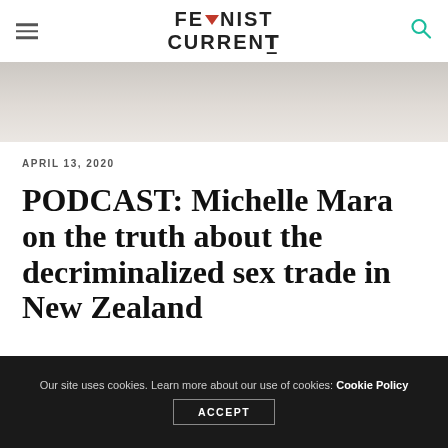FEMINIST CURRENT
[Figure (photo): Greyscale hero image, partially visible, light grey tones]
APRIL 13, 2020
PODCAST: Michelle Mara on the truth about the decriminalized sex trade in New Zealand
Our site uses cookies. Learn more about our use of cookies: Cookie Policy ACCEPT